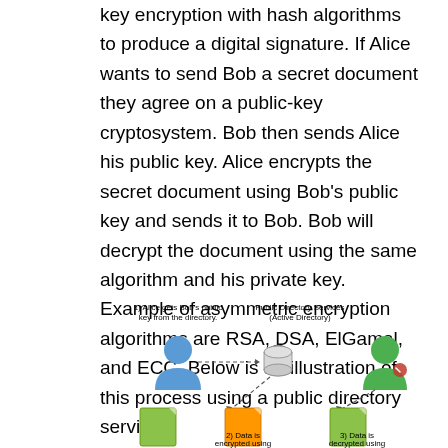key encryption with hash algorithms to produce a digital signature. If Alice wants to send Bob a secret document they agree on a public-key cryptosystem. Bob then sends Alice his public key. Alice encrypts the secret document using Bob's public key and sends it to Bob. Bob will decrypt the document using the same algorithm and his private key. Example of asymmetric encryption algorithms are RSA, DSA, ElGamal, and ECC. Below is an illustration of this process using a public directory service:
[Figure (illustration): Diagram showing public key encryption process: Alice gets Bob's public key from the directory (Public Directory Services / Active Directory), data is encrypted using the key, and data is decrypted using Bob's private key. Shows Alice (blue person icon) sending to a database with a checkmark, and Bob (green person icon) receiving. Documents shown at bottom.]